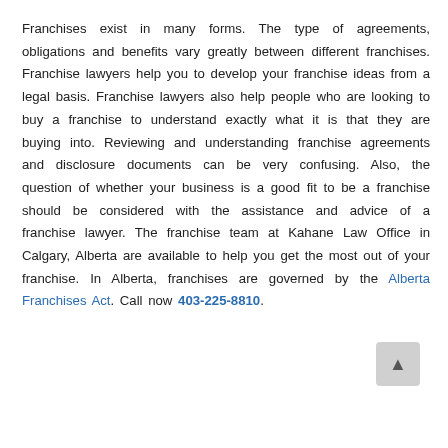Franchises exist in many forms. The type of agreements, obligations and benefits vary greatly between different franchises. Franchise lawyers help you to develop your franchise ideas from a legal basis. Franchise lawyers also help people who are looking to buy a franchise to understand exactly what it is that they are buying into. Reviewing and understanding franchise agreements and disclosure documents can be very confusing. Also, the question of whether your business is a good fit to be a franchise should be considered with the assistance and advice of a franchise lawyer. The franchise team at Kahane Law Office in Calgary, Alberta are available to help you get the most out of your franchise. In Alberta, franchises are governed by the Alberta Franchises Act. Call now 403-225-8810.